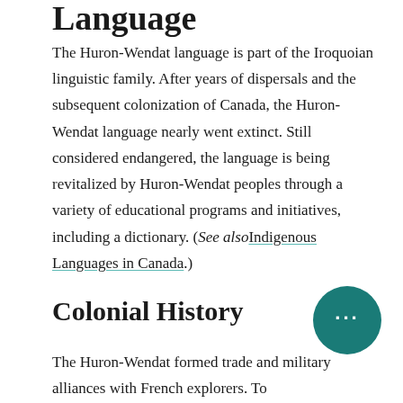Language
The Huron-Wendat language is part of the Iroquoian linguistic family. After years of dispersals and the subsequent colonization of Canada, the Huron-Wendat language nearly went extinct. Still considered endangered, the language is being revitalized by Huron-Wendat peoples through a variety of educational programs and initiatives, including a dictionary. (See also Indigenous Languages in Canada.)
Colonial History
The Huron-Wendat formed trade and military alliances with French explorers. To